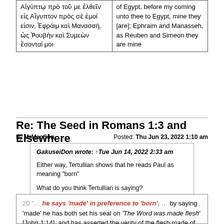| Αἰγύπτῳ πρὸ τοῦ με ἐλθεῖν εἰς Αἴγυπτον πρὸς σὲ ἐμοί εἰσιν, Ἐφράιμ καὶ Μανασσή, ὡς Ῥουβὴν καὶ Συμεὼν ἔσονταί μοι· | of Egypt, before my coming unto thee to Egypt, mine they [are]; Ephraim and Manasseh, as Reuben and Simeon they are mine |
Re: The Seed in Romans 1:3 and Elsewhere
by MrMacSon    Posted: Thu Jun 23, 2022 1:10 am
GakuseiDon wrote: ↑Tue Jun 14, 2022 2:33 am

Either way, Tertullian shows that he reads Paul as meaning "born"

What do you think Tertullian is saying?
20 "… he says 'made' in preference to 'born'. … by saying 'made' he has both set his seal on 'The Word was made flesh' [John 1:14], and has asserted the verity of the flesh made of the Virgin... flesh not born of seed has